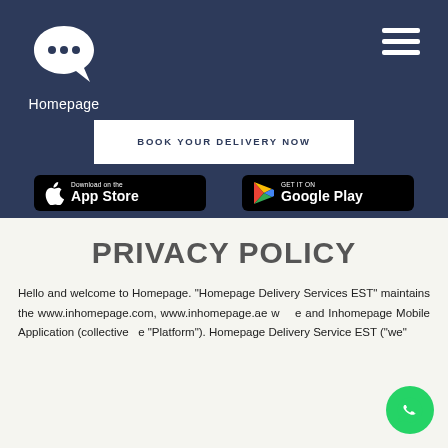[Figure (logo): Homepage app logo — white speech bubble with three dots on dark navy background, with 'Homepage' text below]
[Figure (illustration): Hamburger menu icon (three white horizontal lines) in top right corner]
BOOK YOUR DELIVERY NOW
[Figure (illustration): Download on the App Store badge — black rounded rectangle with Apple logo and text]
[Figure (illustration): Get it on Google Play badge — black rounded rectangle with Google Play logo and text]
PRIVACY POLICY
Hello and welcome to Homepage. "Homepage Delivery Services EST" maintains the www.inhomepage.com, www.inhomepage.ae w e and Inhomepage Mobile Application (collective e "Platform"). Homepage Delivery Service EST ("we"